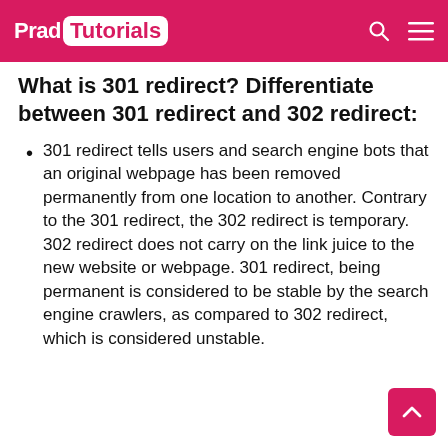Prad Tutorials
What is 301 redirect? Differentiate between 301 redirect and 302 redirect:
301 redirect tells users and search engine bots that an original webpage has been removed permanently from one location to another. Contrary to the 301 redirect, the 302 redirect is temporary. 302 redirect does not carry on the link juice to the new website or webpage. 301 redirect, being permanent is considered to be stable by the search engine crawlers, as compared to 302 redirect, which is considered unstable.